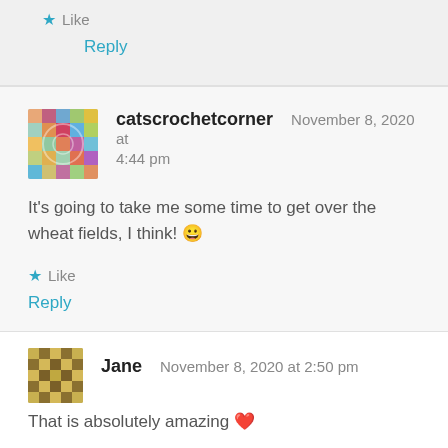Like
Reply
catscrochetcorner  November 8, 2020 at 4:44 pm
It's going to take me some time to get over the wheat fields, I think! 😀
Like
Reply
Jane  November 8, 2020 at 2:50 pm
That is absolutely amazing ❤️